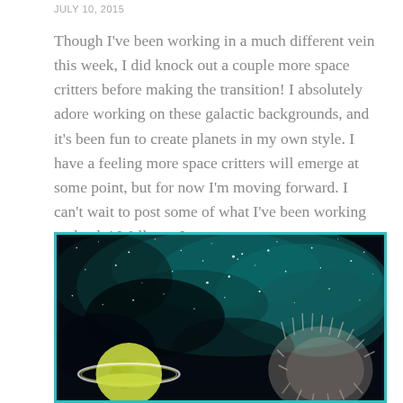JULY 10, 2015
Though I've been working in a much different vein this week, I did knock out a couple more space critters before making the transition! I absolutely adore working on these galactic backgrounds, and it's been fun to create planets in my own style. I have a feeling more space critters will emerge at some point, but for now I'm moving forward. I can't wait to post some of what I've been working on lately! Well, yes I can...
[Figure (illustration): A space-themed illustration showing a galactic background with teal/turquoise nebula and star field, with a yellow-green ringed planet (Saturn-like) in the lower left and a fuzzy creature visible on the right side. The image is framed with a teal border.]